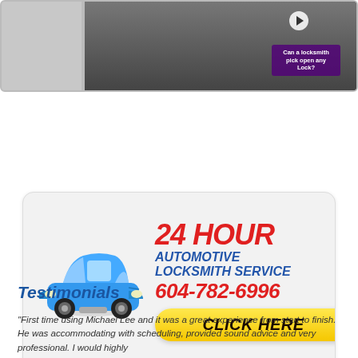[Figure (screenshot): Video thumbnail showing a locksmith/person in dark shirt with text overlay: 'Can a locksmith pick open any Lock?']
[Figure (infographic): 24 Hour Automotive Locksmith Service advertisement banner with blue car image, phone number 604-782-6996, and a yellow CLICK HERE button]
Testimonials
“First time using Michael Lee and it was a great experience from start to finish. He was accommodating with scheduling, provided sound advice and very professional. I would highly